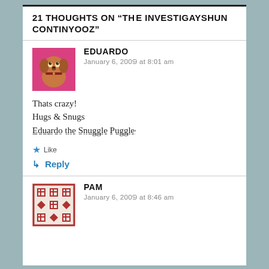21 THOUGHTS ON “THE INVESTIGAYSHUN CONTINYOOZ”
EDUARDO
January 6, 2009 at 8:01 am
Thats crazy!
Hugs & Snugs
Eduardo the Snuggle Puggle
★ Like
↳ Reply
PAM
January 6, 2009 at 8:46 am